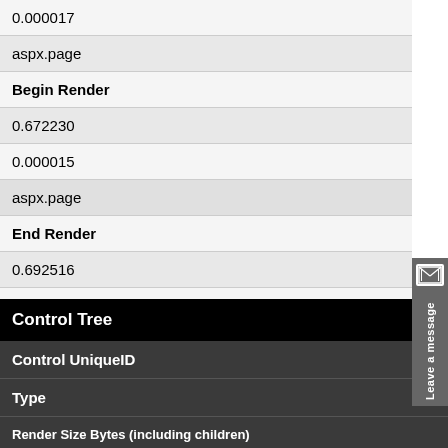| 0.000017 |
| aspx.page |
| Begin Render |
| 0.672230 |
| 0.000015 |
| aspx.page |
| End Render |
| 0.692516 |
| 0.020286 |
Control Tree
| Control UniqueID | Type | Render Size Bytes (including children) | ViewState Size Bytes (excluding children) | ControlState Size Bytes (excluding children) |
| --- | --- | --- | --- | --- |